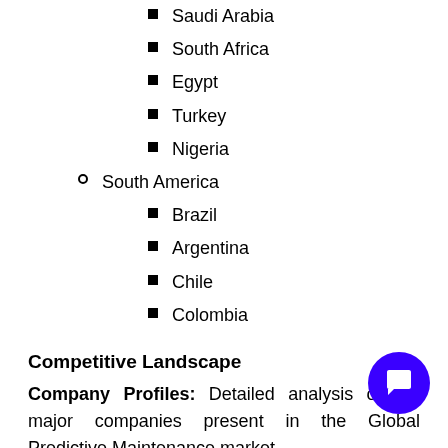Saudi Arabia
South Africa
Egypt
Turkey
Nigeria
South America
Brazil
Argentina
Chile
Colombia
Competitive Landscape
Company Profiles: Detailed analysis of the major companies present in the Global Predictive Maintenance market.
Available Customizations:
With the given Market data, TechSci Research offers